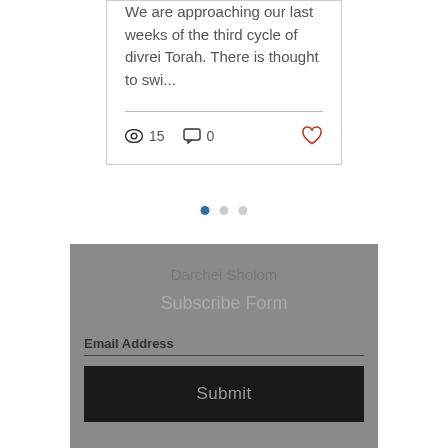We are approaching our last weeks of the third cycle of divrei Torah. There is thought to swi...
15  0
[Figure (other): Pagination dots: three dots, first (blue/active), second and third grey]
Darchei Sholom
Subscribe Form
Email Address
Submit